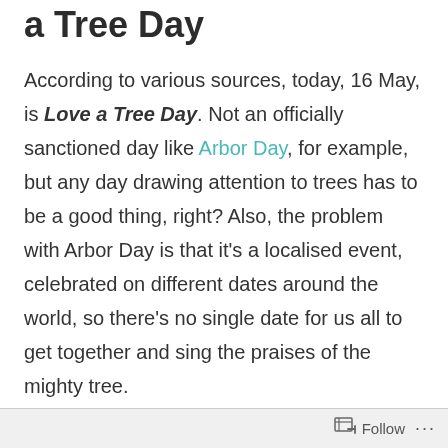a Tree Day
According to various sources, today, 16 May, is Love a Tree Day. Not an officially sanctioned day like Arbor Day, for example, but any day drawing attention to trees has to be a good thing, right? Also, the problem with Arbor Day is that it's a localised event, celebrated on different dates around the world, so there's no single date for us all to get together and sing the praises of the mighty tree.
Until Love a Tree Day, that is.
So, this is a good time to again remind
Follow ...